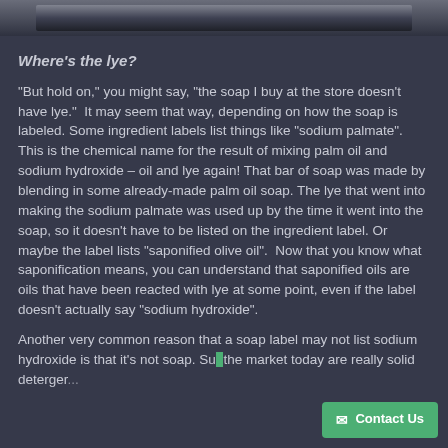[Figure (photo): Partial photo strip at the top of the page, showing a dark/gray image, likely a soap or kitchen-related photo.]
Where's the lye?
"But hold on," you might say, "the soap I buy at the store doesn't have lye."  It may seem that way, depending on how the soap is labeled. Some ingredient labels list things like "sodium palmate". This is the chemical name for the result of mixing palm oil and sodium hydroxide – oil and lye again! That bar of soap was made by blending in some already-made palm oil soap. The lye that went into making the sodium palmate was used up by the time it went into the soap, so it doesn't have to be listed on the ingredient label. Or maybe the label lists "saponified olive oil".  Now that you know what saponification means, you can understand that saponified oils are oils that have been reacted with lye at some point, even if the label doesn't actually say "sodium hydroxide".
Another very common reason that a soap label may not list sodium hydroxide is that it's not soap. Su... the market today are really solid detergen...